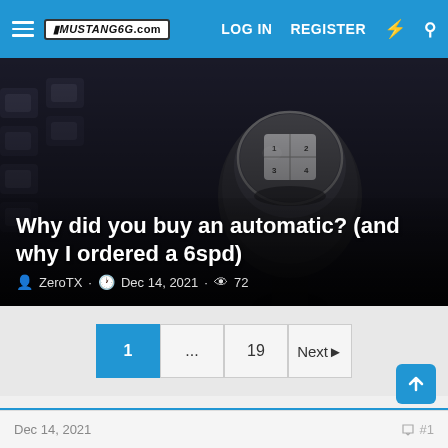MUSTANG6G.com  LOG IN  REGISTER
[Figure (photo): Close-up photo of a manual transmission gear shift knob with shift pattern diagram on top, dark background with keyboard visible]
Why did you buy an automatic? (and why I ordered a 6spd)
ZeroTX · Dec 14, 2021 · 72
1 ... 19 Next
ZeroTX
Dec 14, 2021
#1